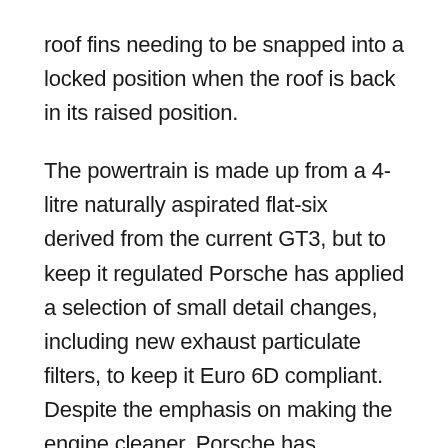roof fins needing to be snapped into a locked position when the roof is back in its raised position.
The powertrain is made up from a 4-litre naturally aspirated flat-six derived from the current GT3, but to keep it regulated Porsche has applied a selection of small detail changes, including new exhaust particulate filters, to keep it Euro 6D compliant. Despite the emphasis on making the engine cleaner, Porsche has countered this with a revised fuel injection system and a new intake system, amongst other detail changes to add a further 9bhp to the GT3's power figure, now totalling 502bhp at